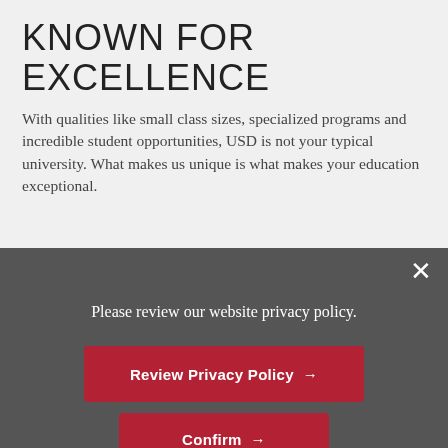KNOWN FOR EXCELLENCE
With qualities like small class sizes, specialized programs and incredible student opportunities, USD is not your typical university. What makes us unique is what makes your education exceptional.
Please review our website privacy policy.
Review Privacy Policy →
Confirm →